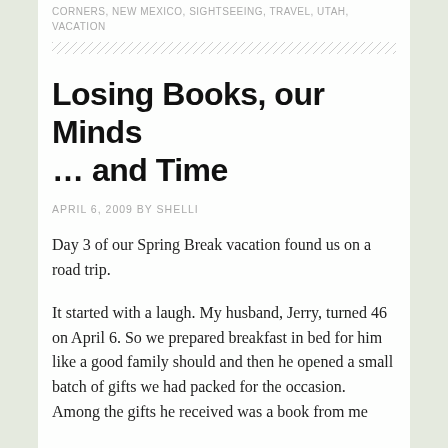CORNERS, NEW MEXICO, SIGHTSEEING, TRAVEL, UTAH, VACATION
Losing Books, our Minds … and Time
APRIL 6, 2009 BY SHELLI
Day 3 of our Spring Break vacation found us on a road trip.
It started with a laugh. My husband, Jerry, turned 46 on April 6. So we prepared breakfast in bed for him like a good family should and then he opened a small batch of gifts we had packed for the occasion. Among the gifts he received was a book from me